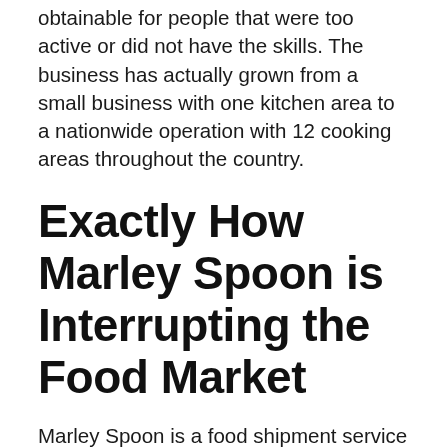obtainable for people that were too active or did not have the skills. The business has actually grown from a small business with one kitchen area to a nationwide operation with 12 cooking areas throughout the country.
Exactly How Marley Spoon is Interrupting the Food Market
Marley Spoon is a food shipment service that provides home cooking packages to its clients. These packages are designed by specialist cooks that take care of all the hard work and let the consumer take pleasure in the scrumptious food. Marley Spoon has